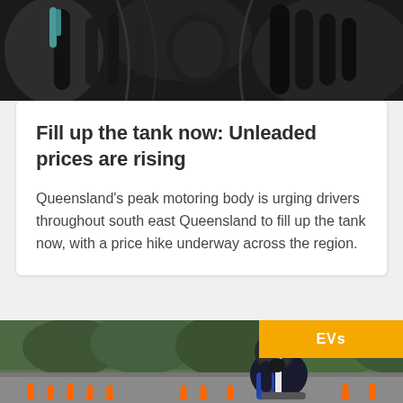[Figure (photo): Close-up of motorcycle handlebars and gauges, dark tones]
Fill up the tank now: Unleaded prices are rising
Queensland's peak motoring body is urging drivers throughout south east Queensland to fill up the tank now, with a price hike underway across the region.
[Figure (photo): Person wearing a helmet and gloves riding or handling an electric scooter on a road with orange traffic cones. An orange banner with 'EVs' label is visible top right.]